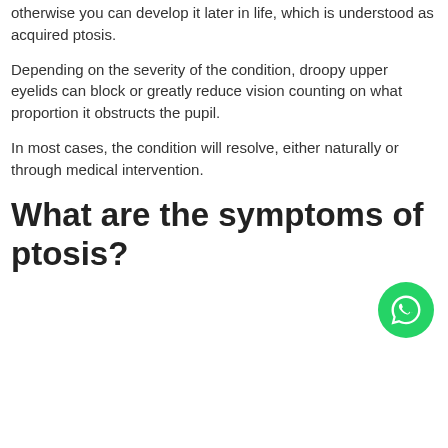otherwise you can develop it later in life, which is understood as acquired ptosis.
Depending on the severity of the condition, droopy upper eyelids can block or greatly reduce vision counting on what proportion it obstructs the pupil.
In most cases, the condition will resolve, either naturally or through medical intervention.
What are the symptoms of ptosis?
[Figure (illustration): WhatsApp contact button icon — green circle with white WhatsApp logo]